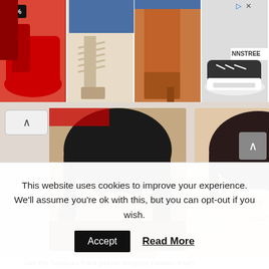[Figure (photo): Advertisement banner showing four pairs of women's shoes: red chunky sneakers (-25% tag), beige strappy heeled sandals, orange/rust slouchy ankle boots, and black platform sneakers. NNSTREE branding on the right side.]
[Figure (photo): Two side-by-side photos of Asian women's faces, likely before and after comparison for a plastic surgery article about Sandara Park.]
Are the Sandara Park plastic surgery rumors true?
This website uses cookies to improve your experience. We'll assume you're ok with this, but you can opt-out if you wish.
Accept   Read More